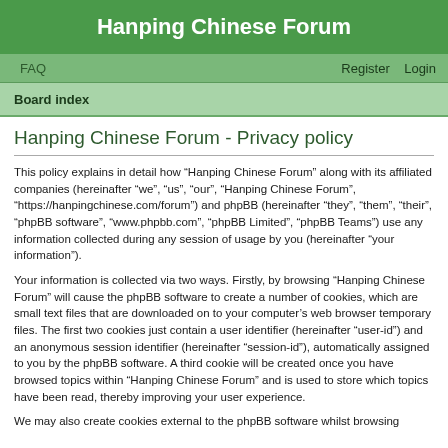Hanping Chinese Forum
FAQ    Register    Login
Board index
Hanping Chinese Forum - Privacy policy
This policy explains in detail how “Hanping Chinese Forum” along with its affiliated companies (hereinafter “we”, “us”, “our”, “Hanping Chinese Forum”, “https://hanpingchinese.com/forum”) and phpBB (hereinafter “they”, “them”, “their”, “phpBB software”, “www.phpbb.com”, “phpBB Limited”, “phpBB Teams”) use any information collected during any session of usage by you (hereinafter “your information”).
Your information is collected via two ways. Firstly, by browsing “Hanping Chinese Forum” will cause the phpBB software to create a number of cookies, which are small text files that are downloaded on to your computer’s web browser temporary files. The first two cookies just contain a user identifier (hereinafter “user-id”) and an anonymous session identifier (hereinafter “session-id”), automatically assigned to you by the phpBB software. A third cookie will be created once you have browsed topics within “Hanping Chinese Forum” and is used to store which topics have been read, thereby improving your user experience.
We may also create cookies external to the phpBB software whilst browsing